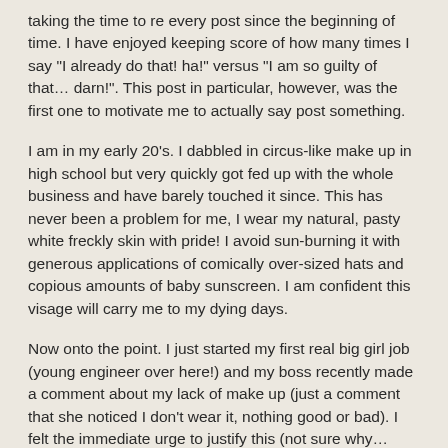taking the time to re every post since the beginning of time. I have enjoyed keeping score of how many times I say "I already do that! ha!" versus "I am so guilty of that… darn!". This post in particular, however, was the first one to motivate me to actually say post something.
I am in my early 20's. I dabbled in circus-like make up in high school but very quickly got fed up with the whole business and have barely touched it since. This has never been a problem for me, I wear my natural, pasty white freckly skin with pride! I avoid sun-burning it with generous applications of comically over-sized hats and copious amounts of baby sunscreen. I am confident this visage will carry me to my dying days.
Now onto the point. I just started my first real big girl job (young engineer over here!) and my boss recently made a comment about my lack of make up (just a comment that she noticed I don't wear it, nothing good or bad). I felt the immediate urge to justify this (not sure why… society and what not). Anyway, the whole encounter ended by her basically suggesting strongly that I start wearing make up…especially to meetings and the like. This has simply reinforced my commitment to never wear make up. I was feeling a bit uncomfortable about the whole thing when I came across this post not a day later. This post and the subsequent positive comments have